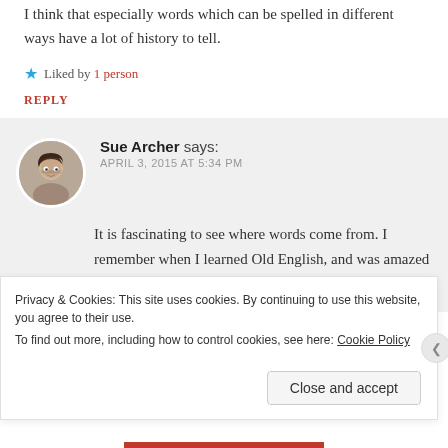I think that especially words which can be spelled in different ways have a lot of history to tell.
★ Liked by 1 person
REPLY
Sue Archer says: APRIL 3, 2015 AT 5:34 PM
It is fascinating to see where words come from. I remember when I learned Old English, and was amazed at how different it was from what we speak today.
Privacy & Cookies: This site uses cookies. By continuing to use this website, you agree to their use.
To find out more, including how to control cookies, see here: Cookie Policy
Close and accept